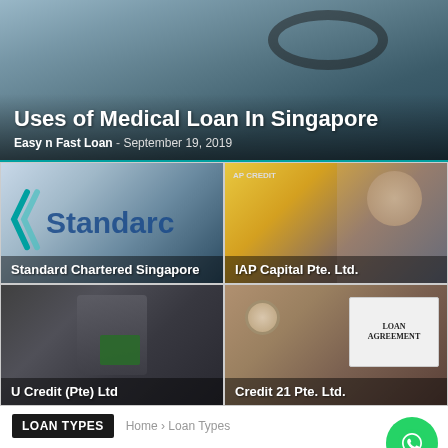[Figure (photo): Hero banner with medical/healthcare background image showing stethoscope and hands]
Uses of Medical Loan In Singapore
Easy n Fast Loan - September 19, 2019
[Figure (photo): Standard Chartered Singapore bank logo/branding image]
Standard Chartered Singapore
[Figure (photo): IAP Capital Pte. Ltd. - person on phone with yellow background]
IAP Capital Pte. Ltd.
[Figure (photo): U Credit (Pte) Ltd - person holding folder/document]
U Credit (Pte) Ltd
[Figure (photo): Credit 21 Pte. Ltd. - loan agreement document on desk]
Credit 21 Pte. Ltd.
LOAN TYPES
Home › Loan Types
Personal Loan for S Pass in Singapore